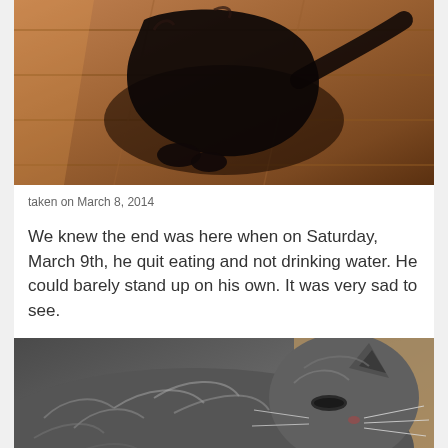[Figure (photo): Black cat lying on a wooden deck in sunlight, viewed from above showing paws and silhouette]
taken on March 8, 2014
We knew the end was here when on Saturday, March 9th, he quit eating and not drinking water. He could barely stand up on his own. It was very sad to see.
[Figure (photo): Gray fluffy cat lying down, eyes partially closed, resting on a blanket, close-up view]